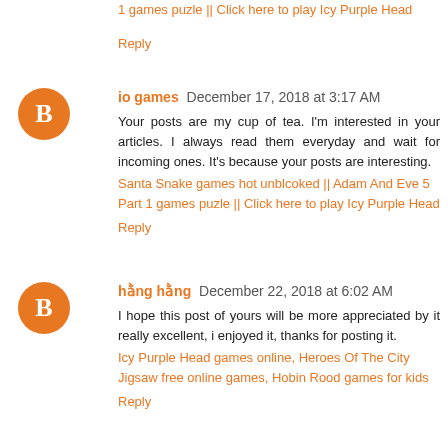1 games puzle || Click here to play Icy Purple Head
Reply
io games  December 17, 2018 at 3:17 AM
Your posts are my cup of tea. I'm interested in your articles. I always read them everyday and wait for incoming ones. It's because your posts are interesting.
Santa Snake games hot unblcoked || Adam And Eve 5 Part 1 games puzle || Click here to play Icy Purple Head
Reply
hằng hằng  December 22, 2018 at 6:02 AM
I hope this post of yours will be more appreciated by it really excellent, i enjoyed it, thanks for posting it.
Icy Purple Head games online, Heroes Of The City Jigsaw free online games, Hobin Rood games for kids
Reply